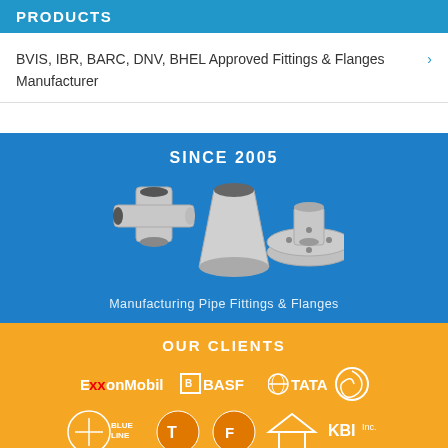PRODUCTS
BVIS, IBR, BARC, DNV, BHEL Approved Fittings & Flanges Manufacturer
[Figure (photo): Photo of pipe fittings and flanges — a T-junction fitting, a reducer/cone fitting, and a flange — against a blue background with text 'SINCE 2005' above and 'Manufacturing Pipe Fittings & Flanges' below]
OUR CLIENTS
[Figure (logo): Client logos row 1: ExxonMobil, BASF, TATA, and a circular logo]
[Figure (logo): Client logos row 2: Blue Line, partial logos, KBI Inc.]